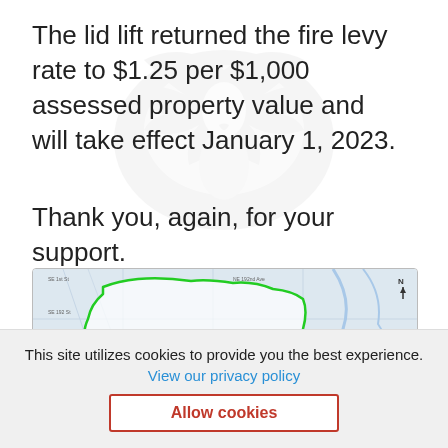The lid lift returned the fire levy rate to $1.25 per $1,000 assessed property value and will take effect January 1, 2023.
Thank you, again, for your support.
[Figure (map): Map showing Clark County Fire District 5 boundary outlined in green, with a black dot indicating a location labeled 'Sta. 7'. The label 'Clark County Fire District 5' appears in the center of the map.]
This site utilizes cookies to provide you the best experience.
View our privacy policy
Allow cookies